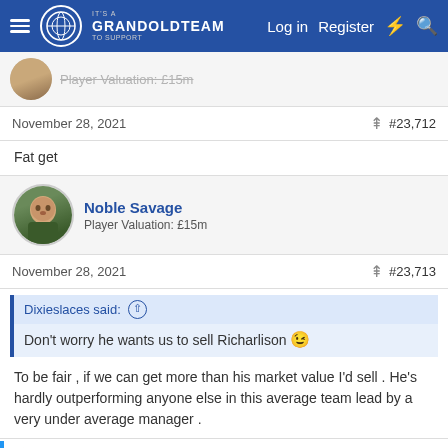GrandOldTeam — Log in | Register
Player Valuation: £15m (partial, cut off)
November 28, 2021  #23,712
Fat get
Noble Savage — Player Valuation: £15m
November 28, 2021  #23,713
Dixieslaces said: ↑  Don't worry he wants us to sell Richarlison 😉
To be fair , if we can get more than his market value I'd sell . He's hardly outperforming anyone else in this average team lead by a very under average manager .
Dixieslaces